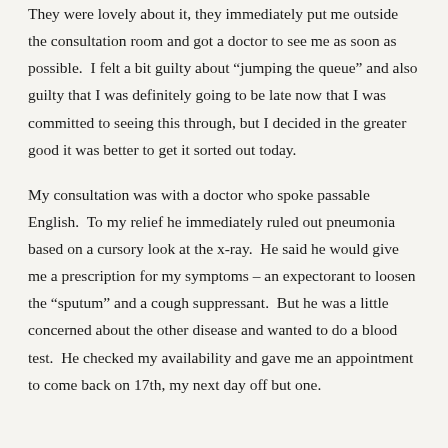They were lovely about it, they immediately put me outside the consultation room and got a doctor to see me as soon as possible.  I felt a bit guilty about “jumping the queue” and also guilty that I was definitely going to be late now that I was committed to seeing this through, but I decided in the greater good it was better to get it sorted out today.
My consultation was with a doctor who spoke passable English.  To my relief he immediately ruled out pneumonia based on a cursory look at the x-ray.  He said he would give me a prescription for my symptoms – an expectorant to loosen the “sputum” and a cough suppressant.  But he was a little concerned about the other disease and wanted to do a blood test.  He checked my availability and gave me an appointment to come back on 17th, my next day off but one.